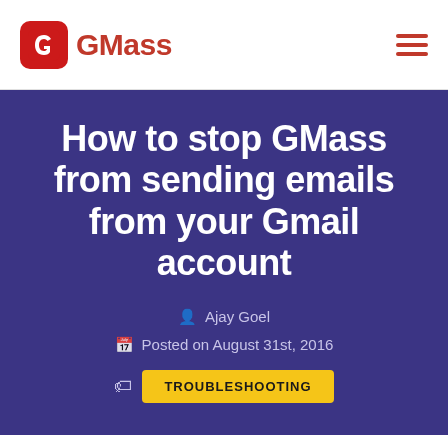GMass
How to stop GMass from sending emails from your Gmail account
Ajay Goel
Posted on August 31st, 2016
TROUBLESHOOTING
Share This
There are lots of reasons why you may need to stop GMass